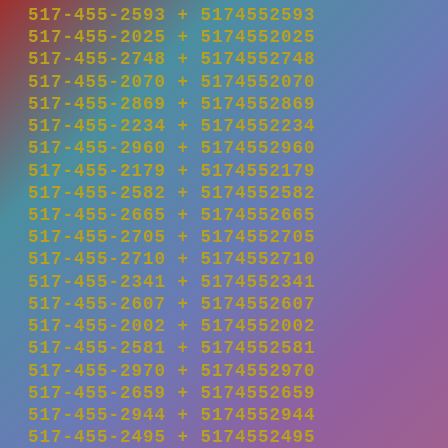517-455-2593 + 5174552593
517-455-2025 + 5174552025
517-455-2748 + 5174552748
517-455-2070 + 5174552070
517-455-2869 + 5174552869
517-455-2234 + 5174552234
517-455-2960 + 5174552960
517-455-2179 + 5174552179
517-455-2582 + 5174552582
517-455-2665 + 5174552665
517-455-2705 + 5174552705
517-455-2710 + 5174552710
517-455-2341 + 5174552341
517-455-2607 + 5174552607
517-455-2002 + 5174552002
517-455-2581 + 5174552581
517-455-2970 + 5174552970
517-455-2659 + 5174552659
517-455-2944 + 5174552944
517-455-2495 + 5174552495
517-455-2503 + 5174552503
517-455-2738 + 5174552738